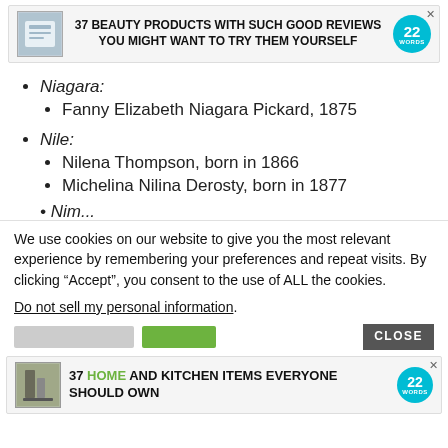[Figure (screenshot): Advertisement banner: '37 BEAUTY PRODUCTS WITH SUCH GOOD REVIEWS YOU MIGHT WANT TO TRY THEM YOURSELF' with a '22 WORDS' badge]
Niagara:
Fanny Elizabeth Niagara Pickard, 1875
Nile:
Nilena Thompson, born in 1866
Michelina Nilina Derosty, born in 1877
We use cookies on our website to give you the most relevant experience by remembering your preferences and repeat visits. By clicking “Accept”, you consent to the use of ALL the cookies.
Do not sell my personal information.
[Figure (screenshot): Advertisement banner: '37 HOME AND KITCHEN ITEMS EVERYONE SHOULD OWN' with a '22 WORDS' badge]